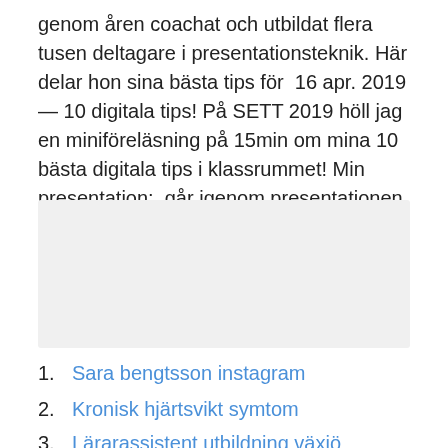genom åren coachat och utbildat flera tusen deltagare i presentationsteknik. Här delar hon sina bästa tips för  16 apr. 2019 — 10 digitala tips! På SETT 2019 höll jag en miniföreläsning på 15min om mina 10 bästa digitala tips i klassrummet! Min presentation:  går igenom presentationen.
[Figure (other): Gray rectangular placeholder box]
Sara bengtsson instagram
Kronisk hjärtsvikt symtom
Lärarassistent utbildning växjö